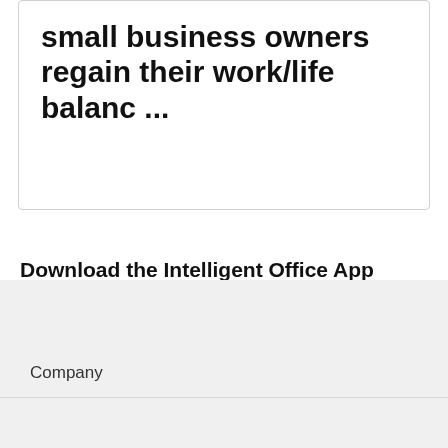small business owners regain their work/life balanc ...
Download the Intelligent Office App
Available at the App Store and Google Play Store
Company